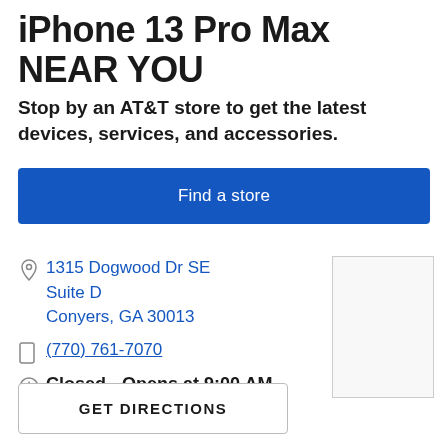iPhone 13 Pro Max NEAR YOU
Stop by an AT&T store to get the latest devices, services, and accessories.
Find a store
1315 Dogwood Dr SE Suite D Conyers, GA 30013
(770) 761-7070
Closed - Opens at 9:00 AM
See weekly hours
[Figure (map): Partial map view placeholder on the right side]
GET DIRECTIONS